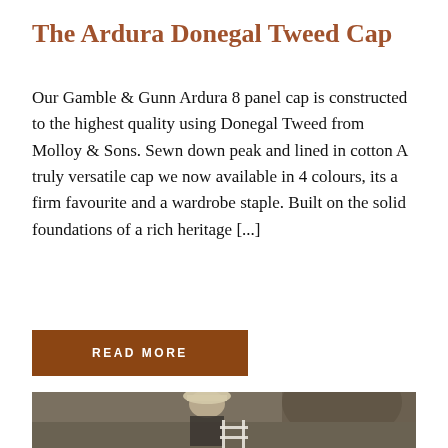The Ardura Donegal Tweed Cap
Our Gamble & Gunn Ardura 8 panel cap is constructed to the highest quality using Donegal Tweed from Molloy & Sons. Sewn down peak and lined in cotton A truly versatile cap we now available in 4 colours, its a firm favourite and a wardrobe staple. Built on the solid foundations of a rich heritage [...]
READ MORE
[Figure (photo): A man wearing a light-colored hat and dark vest, sitting outdoors near a large tree, holding a white metal garden chair or fence.]